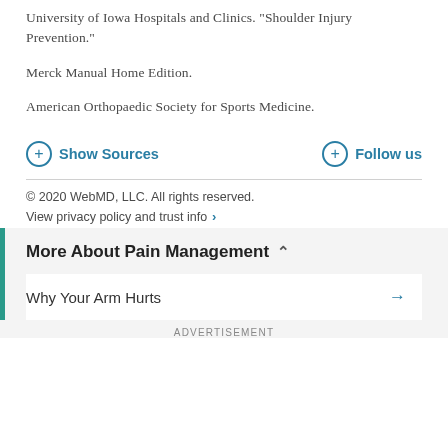University of Iowa Hospitals and Clinics. "Shoulder Injury Prevention."
Merck Manual Home Edition.
American Orthopaedic Society for Sports Medicine.
Show Sources
Follow us
© 2020 WebMD, LLC. All rights reserved.
View privacy policy and trust info
More About Pain Management
Why Your Arm Hurts
ADVERTISEMENT